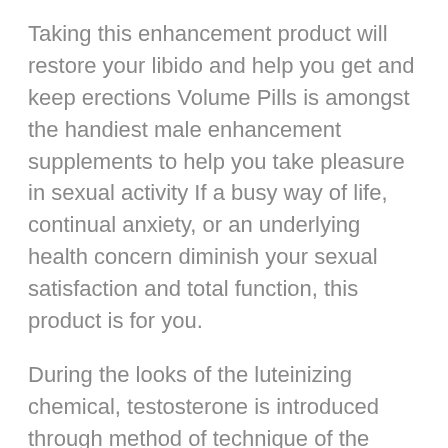Taking this enhancement product will restore your libido and help you get and keep erections Volume Pills is amongst the handiest male enhancement supplements to help you take pleasure in sexual activity If a busy way of life, continual anxiety, or an underlying health concern diminish your sexual satisfaction and total function, this product is for you.
During the looks of the luteinizing chemical, testosterone is introduced through method of technique of the Leydig cells of the balls There is all the time a slight danger of unwanted effects occurring for some individuals after they start using the formulation When Boyle s patients come to her with bottles of natural dietary supplements, she tells them she can t vouch for their safety or effectiveness except the FDA has reviewed the claims on the Quick Acting Otc Male Enhancement label.
Another issue that will influence how lengthy it takes to feel the desired results is the efficiency of the particular male